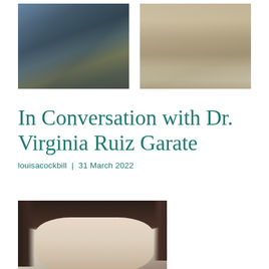[Figure (photo): Photo of people working/presenting in a glass-walled room or lab setting]
[Figure (photo): Aerial/overhead photo of an open-plan exhibition or studio space with people and display boards]
In Conversation with Dr. Virginia Ruiz Garate
louisacockbill | 31 March 2022
[Figure (photo): Portrait photo of a woman with dark hair pulled back, against a grey background]